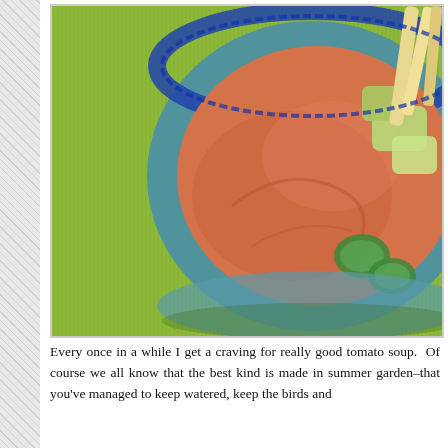[Figure (photo): A bowl of tomato gazpacho soup with cucumber slices, avocado chunks, and breadsticks, served on a bright green placemat alongside a sandwich with roasted red peppers and vegetables on a white roll.]
Every once in a while I get a craving for really good tomato soup.  Of course we all know that the best kind is made in summer garden–that you've managed to keep watered, keep the birds and